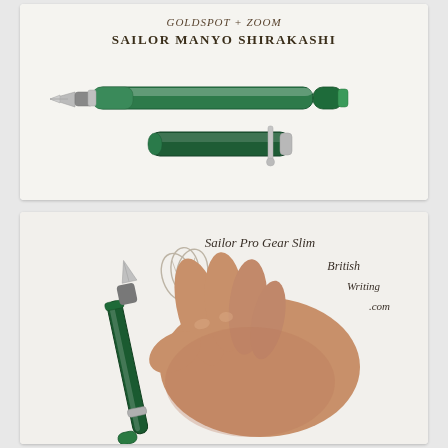[Figure (photo): Top photo: A green Sailor fountain pen (uncapped) displayed on a white surface with handwritten text above reading 'GOLDSPOT + ZOOM' and 'SAILOR MANYO SHIRAKASHI'. The pen has a silver nib and green translucent body with chrome accents. The cap is placed below the pen body.]
[Figure (photo): Bottom photo: A hand holding a green Sailor Pro Gear Slim fountain pen being used to write on white paper. Handwritten text visible on the paper reads 'Sailor Pro Gear Slim', 'British', and partially visible text including '.com'. The pen is dark green with chrome trim.]